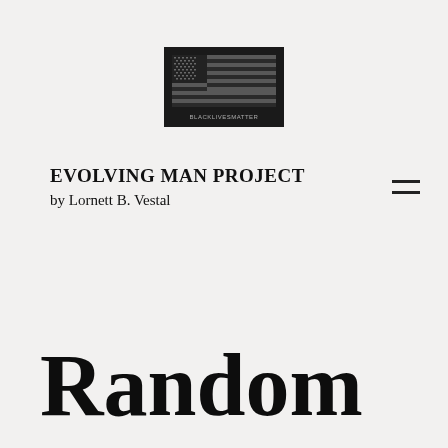[Figure (logo): Black rectangular patch with a reversed/distressed American flag and text 'BLACKLIVESMATTER' below the flag]
EVOLVING MAN PROJECT
by Lornett B. Vestal
[Figure (other): Hamburger menu icon (two horizontal lines) in upper right area]
Random